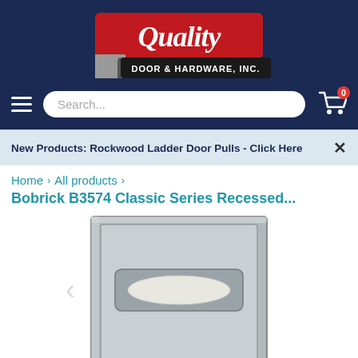[Figure (logo): Quality Door & Hardware, Inc. logo — red and black with white script text on dark navy background]
[Figure (screenshot): Navigation bar with hamburger menu, search bar, and shopping cart icon with 0 badge]
New Products: Rockwood Ladder Door Pulls - Click Here
Home › All products › Bobrick B3574 Classic Series Recessed...
[Figure (photo): Bobrick B3574 Classic Series Recessed stainless steel toilet seat cover dispenser mounted in wall]